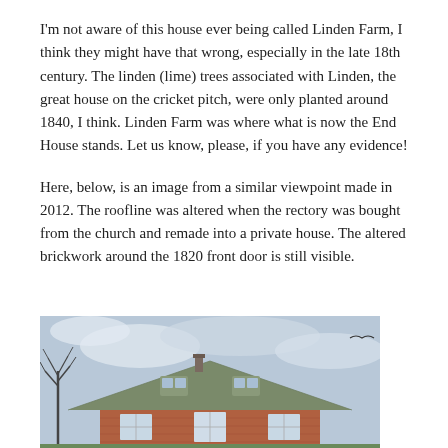I'm not aware of this house ever being called Linden Farm, I think they might have that wrong, especially in the late 18th century. The linden (lime) trees associated with Linden, the great house on the cricket pitch, were only planted around 1840, I think. Linden Farm was where what is now the End House stands. Let us know, please, if you have any evidence!
Here, below, is an image from a similar viewpoint made in 2012. The roofline was altered when the rectory was bought from the church and remade into a private house. The altered brickwork around the 1820 front door is still visible.
[Figure (photo): A photograph of a brick house with a large sloped roof, two dormer windows, and bare trees visible to the left. Sky is overcast. The image is taken from a similar viewpoint in 2012.]